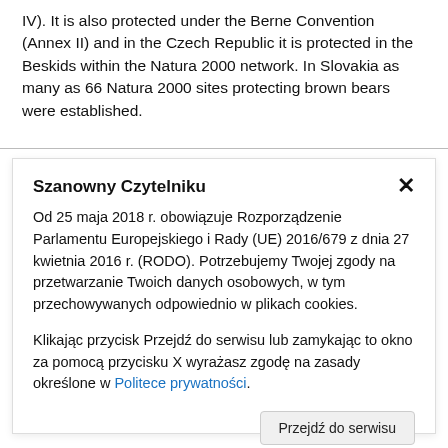IV). It is also protected under the Berne Convention (Annex II) and in the Czech Republic it is protected in the Beskids within the Natura 2000 network. In Slovakia as many as 66 Natura 2000 sites protecting brown bears were established.
Szanowny Czytelniku
Od 25 maja 2018 r. obowiązuje Rozporządzenie Parlamentu Europejskiego i Rady (UE) 2016/679 z dnia 27 kwietnia 2016 r. (RODO). Potrzebujemy Twojej zgody na przetwarzanie Twoich danych osobowych, w tym przechowywanych odpowiednio w plikach cookies.
Klikając przycisk Przejdź do serwisu lub zamykając to okno za pomocą przycisku X wyrażasz zgodę na zasady określone w Politece prywatności.